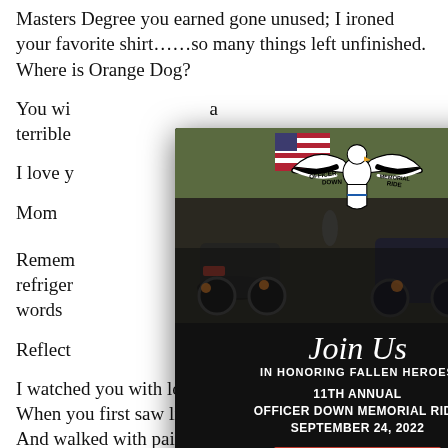Masters Degree you earned gone unused; I ironed your favorite shirt……so many things left unfinished. Where is Orange Dog?
You wi[ll never know what a terrible[...]
I love y[ou...]
Mom
Remem[ber...] on the refriger[ator...] dded words [...]
Reflect[ions...]
I watched you with love
When you first saw light,
And walked with pain and joy
As I comforted you at night.
[Figure (infographic): Officer Down Memorial Ride popup modal with eagle logo, photo of motorcycles with American flag, text 'Join Us IN HONORING FALLEN HEROES 11TH ANNUAL OFFICER DOWN MEMORIAL RIDE SEPTEMBER 24, 2022' and a red REGISTER NOW button.]